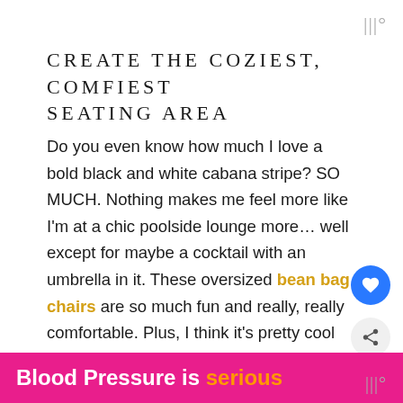|||°
CREATE THE COZIEST, COMFIEST SEATING AREA
Do you even know how much I love a bold black and white cabana stripe? SO MUCH. Nothing makes me feel more like I'm at a chic poolside lounge more… well except for maybe a cocktail with an umbrella in it. These oversized bean bag chairs are so much fun and really, really comfortable. Plus, I think it's pretty cool that they are filled with 100% recycled material and wrapped in quick-drying and stain resistant polyester. Add in the coordinating ottomans and yo...
[Figure (infographic): WHAT'S NEXT arrow label with thumbnail image and text '9 Cozy Cabin Rentals in...']
Blood Pressure is serious